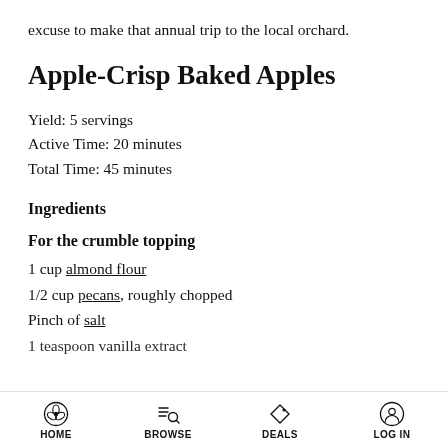excuse to make that annual trip to the local orchard.
Apple-Crisp Baked Apples
Yield: 5 servings
Active Time: 20 minutes
Total Time: 45 minutes
Ingredients
For the crumble topping
1 cup almond flour
1/2 cup pecans, roughly chopped
Pinch of salt
1 teaspoon vanilla extract
HOME   BROWSE   DEALS   LOG IN